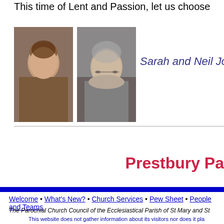This time of Lent and Passion, let us choose
[Figure (photo): Photo of Sarah Jones (woman)]
[Figure (photo): Photo of Neil Jones (man with glasses)]
Sarah and Neil Jones
Prestbury Pa
Welcome • What's New? • Church Services • Pew Sheet • People and Teams
The Parochial Church Council of the Ecclesiastical Parish of St Mary and St
This website does not gather information about its visitors nor does it pla
For general enquiries email Team Administrator  or telephone the Team Offic
Send mail to webmaster with comments about this web site.
Copyright © 1999-2015 The Parish of Prestbury, Gloucestershire, UK
Last modified: 06 June 2015